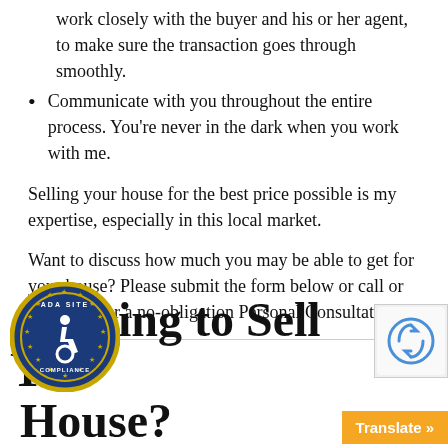work closely with the buyer and his or her agent, to make sure the transaction goes through smoothly.
Communicate with you throughout the entire process. You're never in the dark when you work with me.
Selling your house for the best price possible is my expertise, especially in this local market.
Want to discuss how much you may be able to get for your house? Please submit the form below or call or email me for a no-obligation Personal Consultation.
Looking to Sell Your House?
[Figure (logo): ADA Site Compliance badge — circular blue and gold badge with wheelchair accessibility icon]
[Figure (logo): reCAPTCHA badge]